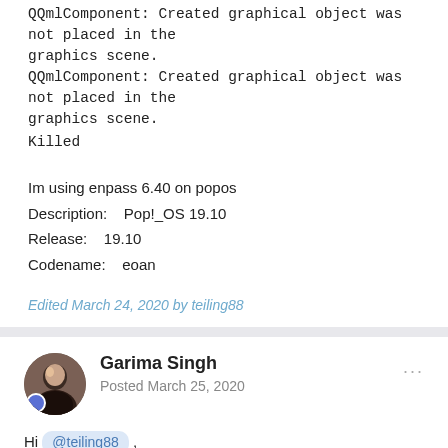QQmlComponent: Created graphical object was not placed in the graphics scene.
QQmlComponent: Created graphical object was not placed in the graphics scene.
Killed
Im using enpass 6.40 on popos
Description:    Pop!_OS 19.10
Release:    19.10
Codename:    eoan
Edited March 24, 2020 by teiling88
Garima Singh
Posted March 25, 2020
Hi @teiling88 ,